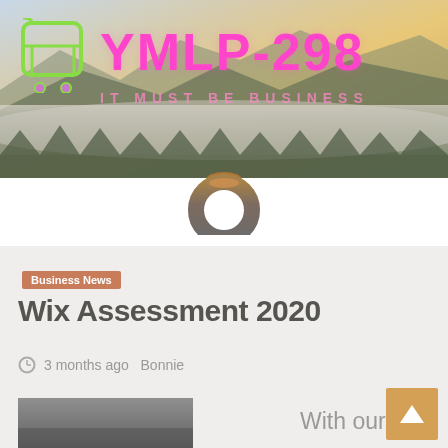[Figure (screenshot): Website header banner with mountain landscape background, shopping cart icon on left, YMLP-298 site title in pink/magenta, tagline IT MUST BE BUSINESS below]
YMLP-298 IT MUST BE BUSINESS
[Figure (screenshot): Navigation bar with hamburger menu icon on left, ring/donut logo in center, search icon on right, gray background]
Business News
Wix Assessment 2020
3 months ago  Bonnie
With our